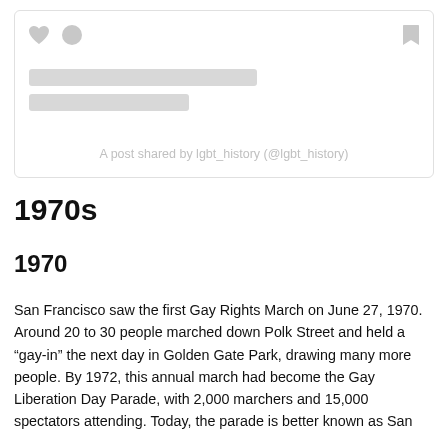[Figure (screenshot): Social media embed card showing a post from lgbt_history (@lgbt_history) with heart and bookmark icons and placeholder content bars]
A post shared by lgbt_history (@lgbt_history)
1970s
1970
San Francisco saw the first Gay Rights March on June 27, 1970. Around 20 to 30 people marched down Polk Street and held a "gay-in" the next day in Golden Gate Park, drawing many more people. By 1972, this annual march had become the Gay Liberation Day Parade, with 2,000 marchers and 15,000 spectators attending. Today, the parade is better known as San